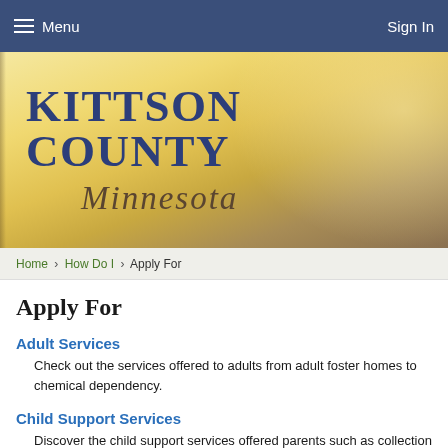Menu   Sign In
[Figure (illustration): Kittson County Minnesota government website hero banner with golden/yellow gradient background and county name in large serif text]
Home › How Do I › Apply For
Apply For
Adult Services
Check out the services offered to adults from adult foster homes to chemical dependency.
Child Support Services
Discover the child support services offered parents such as collection and processing payments and establishing parentage to name a few.